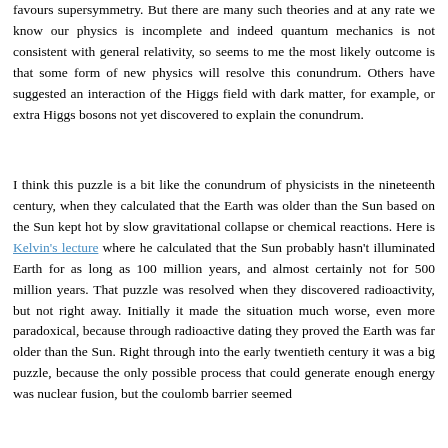favours supersymmetry. But there are many such theories and at any rate we know our physics is incomplete and indeed quantum mechanics is not consistent with general relativity, so seems to me the most likely outcome is that some form of new physics will resolve this conundrum. Others have suggested an interaction of the Higgs field with dark matter, for example, or extra Higgs bosons not yet discovered to explain the conundrum.
I think this puzzle is a bit like the conundrum of physicists in the nineteenth century, when they calculated that the Earth was older than the Sun based on the Sun kept hot by slow gravitational collapse or chemical reactions. Here is Kelvin's lecture where he calculated that the Sun probably hasn't illuminated Earth for as long as 100 million years, and almost certainly not for 500 million years. That puzzle was resolved when they discovered radioactivity, but not right away. Initially it made the situation much worse, even more paradoxical, because through radioactive dating they proved the Earth was far older than the Sun. Right through into the early twentieth century it was a big puzzle, because the only possible process that could generate enough energy was nuclear fusion, but the coulomb barrier seemed